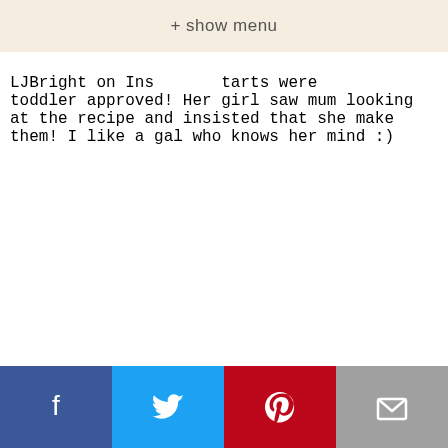+ show menu
LJBright on Instagram tarts were toddler approved! Her girl saw mum looking at the recipe and insisted that she make them! I like a gal who knows her mind :)
Facebook Twitter Pinterest Email social share bar